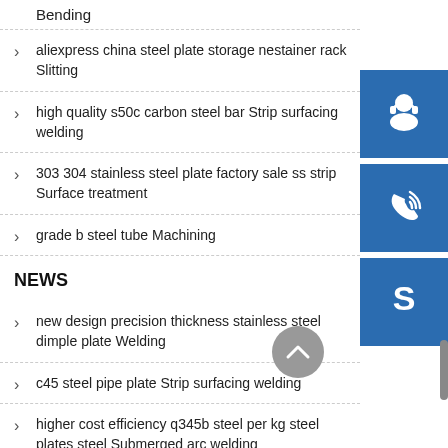Bending
aliexpress china steel plate storage nestainer rack Slitting
high quality s50c carbon steel bar Strip surfacing welding
303 304 stainless steel plate factory sale ss strip Surface treatment
grade b steel tube Machining
NEWS
new design precision thickness stainless steel dimple plate Welding
c45 steel pipe plate Strip surfacing welding
higher cost efficiency q345b steel per kg steel plates steel Submerged arc welding
[Figure (illustration): Blue square button with white headset/customer service icon]
[Figure (illustration): Blue square button with white phone/call icon]
[Figure (illustration): Blue square button with white Skype logo icon]